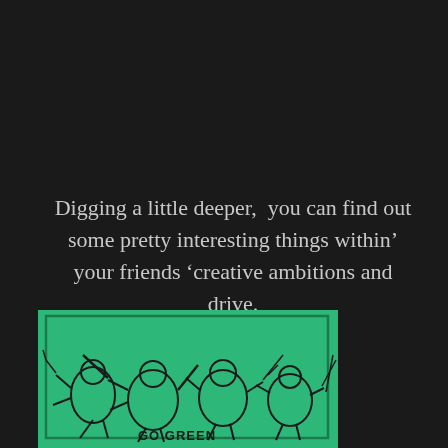Digging a little deeper,  you can find out some pretty interesting things within’ your friends ‘creative ambitions and drive.
[Figure (illustration): Green t-shirt with Teenage Mutant Ninja Turtles illustration showing the four turtles in action poses with text 'GO GREEN' visible at the bottom]